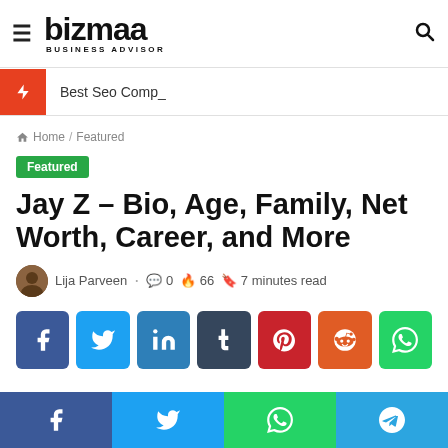bizmaa BUSINESS ADVISOR
Best Seo Comp_
Home / Featured
Featured
Jay Z – Bio, Age, Family, Net Worth, Career, and More
Lija Parveen · 0 · 66 · 7 minutes read
[Figure (other): Social share buttons: Facebook, Twitter, LinkedIn, Tumblr, Pinterest, Reddit, WhatsApp]
Facebook, Twitter, WhatsApp, Telegram bottom bar